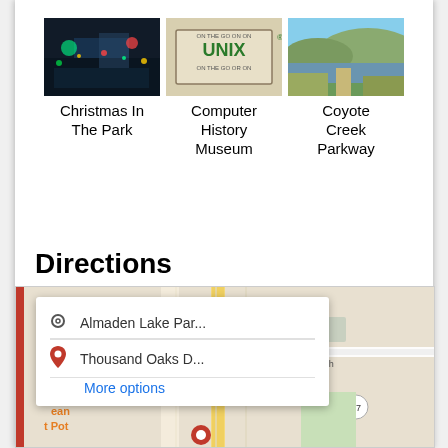[Figure (photo): Three thumbnail photos: Christmas In The Park (nighttime scene with truck/lights), Computer History Museum (UNIX sign), Coyote Creek Parkway (river/landscape)]
Christmas In The Park
Computer History Museum
Coyote Creek Parkway
Directions
[Figure (map): Google Maps screenshot showing directions from Almaden Lake Par... to Thousand Oaks D... with More options link. Map shows Hillsdale Ave, Valley Ch, and road 87 area.]